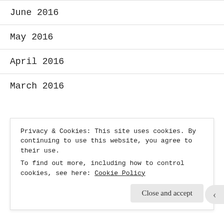June 2016
May 2016
April 2016
March 2016
Recent Comments
marple25mary on #104 – Recompense
Privacy & Cookies: This site uses cookies. By continuing to use this website, you agree to their use.
To find out more, including how to control cookies, see here: Cookie Policy
Close and accept